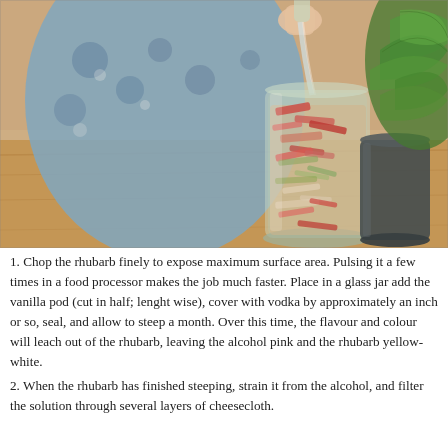[Figure (photo): A person in a blue floral dress pouring liquid into a large glass jar filled with chopped rhubarb pieces on a wooden table. A dark metal vase with green leafy plants is visible in the background on the right.]
1. Chop the rhubarb finely to expose maximum surface area. Pulsing it a few times in a food processor makes the job much faster. Place in a glass jar add the vanilla pod (cut in half; lenght wise), cover with vodka by approximately an inch or so, seal, and allow to steep a month. Over this time, the flavour and colour will leach out of the rhubarb, leaving the alcohol pink and the rhubarb yellow-white.
2. When the rhubarb has finished steeping, strain it from the alcohol, and filter the solution through several layers of cheesecloth.